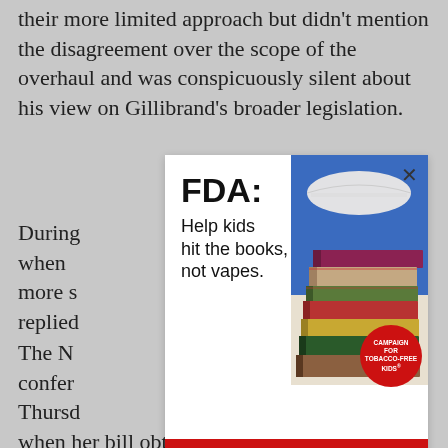their more limited approach but didn't mention the disagreement over the scope of the overhaul and was conspicuously silent about his view on Gillibrand's broader legislation.
During [...] however, when [...] the more s[...] he replied[...]
[Figure (infographic): FDA advertisement overlay: 'FDA: Help kids hit the books, not vapes.' with a photo of stacked books and a Campaign for Tobacco-Free Kids badge. LEARN MORE red button. Close X button.]
The N[...] confer[...] on Thursd[...] her when her bill obtained 66 co-sponsors, including herself — enough to overcome a filibuster. That milestone occurred in late spring.